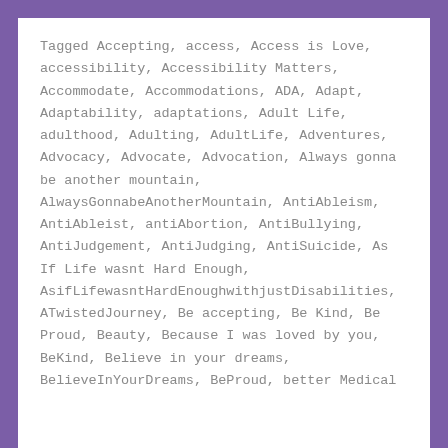Tagged Accepting, access, Access is Love, accessibility, Accessibility Matters, Accommodate, Accommodations, ADA, Adapt, Adaptability, adaptations, Adult Life, adulthood, Adulting, AdultLife, Adventures, Advocacy, Advocate, Advocation, Always gonna be another mountain, AlwaysGonnabeAnotherMountain, AntiAbleism, AntiAbleist, antiAbortion, AntiBullying, AntiJudgement, AntiJudging, AntiSuicide, As If Life wasnt Hard Enough, AsifLifewasntHardEnoughwithjustDisabilities, ATwistedJourney, Be accepting, Be Kind, Be Proud, Beauty, Because I was loved by you, BeKind, Believe in your dreams, BelieveInYourDreams, BeProud, better Medical